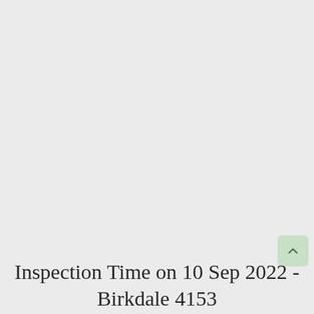Inspection Time on 10 Sep 2022 - Birkdale 4153